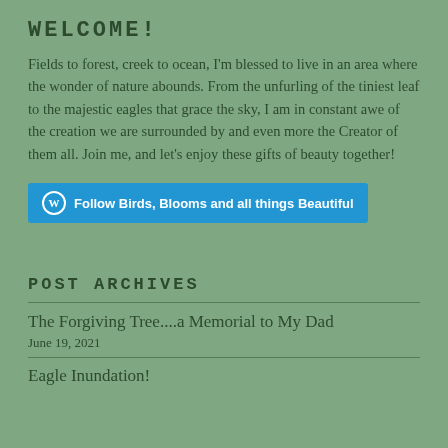WELCOME!
Fields to forest, creek to ocean, I'm blessed to live in an area where the wonder of nature abounds. From the unfurling of the tiniest leaf to the majestic eagles that grace the sky, I am in constant awe of the creation we are surrounded by and even more the Creator of them all. Join me, and let's enjoy these gifts of beauty together!
Follow Birds, Blooms and all things Beautiful
POST ARCHIVES
The Forgiving Tree....a Memorial to My Dad
June 19, 2021
Eagle Inundation!